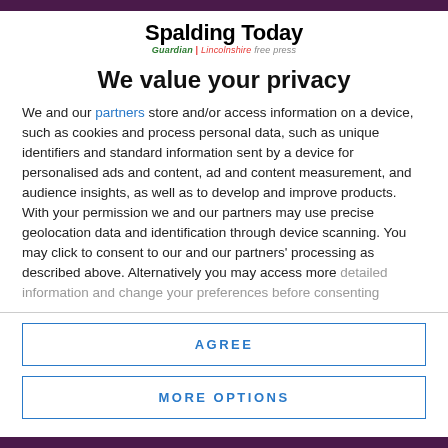[Figure (logo): Spalding Today logo with Guardian and Lincolnshire Free Press tagline]
We value your privacy
We and our partners store and/or access information on a device, such as cookies and process personal data, such as unique identifiers and standard information sent by a device for personalised ads and content, ad and content measurement, and audience insights, as well as to develop and improve products. With your permission we and our partners may use precise geolocation data and identification through device scanning. You may click to consent to our and our partners' processing as described above. Alternatively you may access more detailed information and change your preferences before consenting
AGREE
MORE OPTIONS